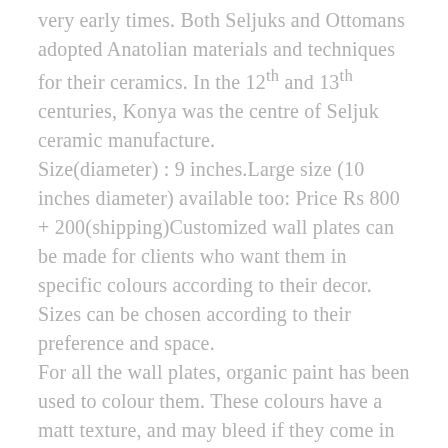very early times. Both Seljuks and Ottomans adopted Anatolian materials and techniques for their ceramics. In the 12th and 13th centuries, Konya was the centre of Seljuk ceramic manufacture. Size(diameter) : 9 inches.Large size (10 inches diameter) available too: Price Rs 800 + 200(shipping)Customized wall plates can be made for clients who want them in specific colours according to their decor. Sizes can be chosen according to their preference and space. For all the wall plates, organic paint has been used to colour them. These colours have a matt texture, and may bleed if they come in contact with liquid. Hence, buyers are strongly advised not to wipe plates with a wet cloth. All plates should be lightly dusted.These should be dusted carefully before they are dusted.